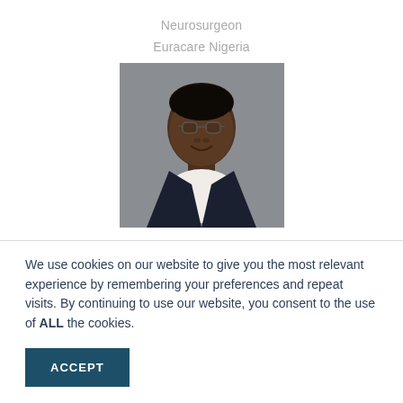Neurosurgeon
Euracare Nigeria
[Figure (photo): Professional headshot of a male neurosurgeon wearing glasses and a dark suit jacket, smiling, against a grey background.]
We use cookies on our website to give you the most relevant experience by remembering your preferences and repeat visits. By continuing to use our website, you consent to the use of ALL the cookies.
ACCEPT